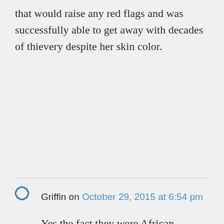that would raise any red flags and was successfully able to get away with decades of thievery despite her skin color.
Griffin on October 29, 2015 at 6:54 pm
Yes the fact they were African American men played into it as well, if they were African American women it would have lowered the chances of them being reported just as it would have if they had been white men. So both racism and sexism figures into this, is that what